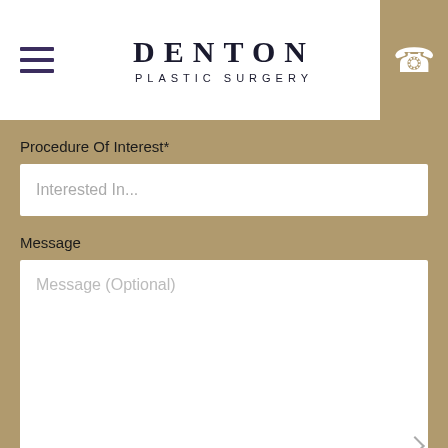DENTON PLASTIC SURGERY
Procedure Of Interest*
Interested In...
Message
Message (Optional)